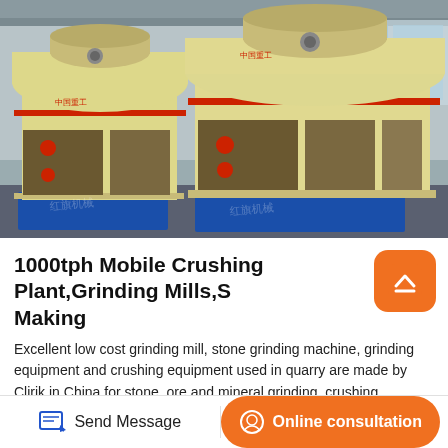[Figure (photo): Industrial cone crushers / grinding mills in a factory setting. Large yellow/cream colored machines with red stripe accents and blue bases, arranged in a row on a factory floor.]
1000tph Mobile Crushing Plant,Grinding Mills,S Making
Excellent low cost grinding mill, stone grinding machine, grinding equipment and crushing equipment used in quarry are made by Clirik in China for stone, ore and mineral grinding, crushing, dressing, recycling with advanced technology and good after-sales service. Welcome to enjoy our products.Small Stone Jaw...
Send Message | Online consultation